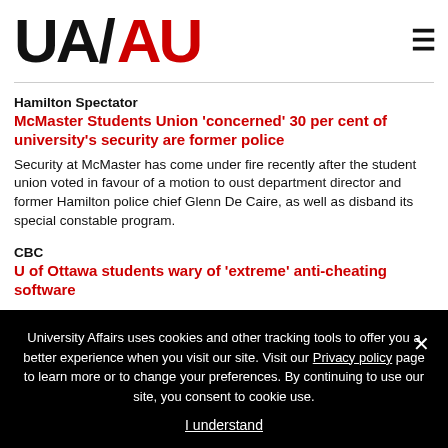UA/AU logo and navigation
Hamilton Spectator
McMaster Students Union 'concerned' 30 per cent of university's security are former police
Security at McMaster has come under fire recently after the student union voted in favour of a motion to oust department director and former Hamilton police chief Glenn De Caire, as well as disband its special constable program.
CBC
U of Ottawa students wary of 'extreme' anti-cheating software
University Affairs uses cookies and other tracking tools to offer you a better experience when you visit our site. Visit our Privacy policy page to learn more or to change your preferences. By continuing to use our site, you consent to cookie use.
I understand